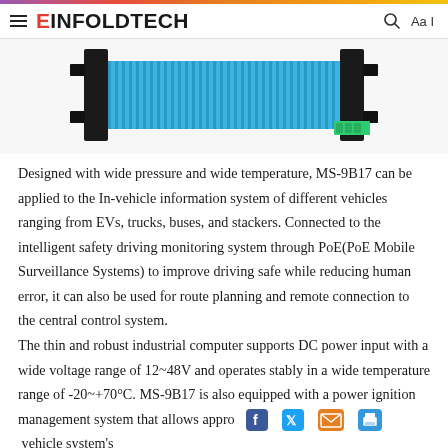EINFOLDTECH
[Figure (photo): A blue finned industrial computer/switch device (MS-9B17) shown at an angle, with black mounting brackets on each side and green terminal connectors visible.]
Designed with wide pressure and wide temperature, MS-9B17 can be applied to the In-vehicle information system of different vehicles ranging from EVs, trucks, buses, and stackers. Connected to the intelligent safety driving monitoring system through PoE(PoE Mobile Surveillance Systems) to improve driving safe while reducing human error, it can also be used for route planning and remote connection to the central control system.
The thin and robust industrial computer supports DC power input with a wide voltage range of 12~48V and operates stably in a wide temperature range of -20~+70°C. MS-9B17 is also equipped with a power ignition management system that allows appro vehicle system's power supply when starting up and shutting down to